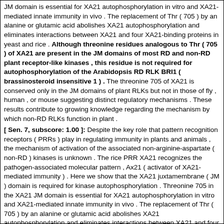JM domain is essential for XA21 autophosphorylation in vitro and XA21-mediated innate immunity in vivo . The replacement of Thr ( 705 ) by an alanine or glutamic acid abolishes XA21 autophosphorylation and eliminates interactions between XA21 and four XA21-binding proteins in yeast and rice . Although threonine residues analogous to Thr ( 705 ) of XA21 are present in the JM domains of most RD and non-RD plant receptor-like kinases , this residue is not required for autophosphorylation of the Arabidopsis RD RLK BRI1 ( brassinosteroid insensitive 1 ) . The threonine 705 of XA21 is conserved only in the JM domains of plant RLKs but not in those of fly , human , or mouse suggesting distinct regulatory mechanisms . These results contribute to growing knowledge regarding the mechanism by which non-RD RLKs function in plant .
[ Sen. 7, subscore: 1.00 ]: Despite the key role that pattern recognition receptors ( PRRs ) play in regulating immunity in plants and animals , the mechanism of activation of the associated non-arginine-aspartate ( non-RD ) kinases is unknown . The rice PRR XA21 recognizes the pathogen-associated molecular pattern , Ax21 ( activator of XA21-mediated immunity ) . Here we show that the XA21 juxtamembrane ( JM ) domain is required for kinase autophosphorylation . Threonine 705 in the XA21 JM domain is essential for XA21 autophosphorylation in vitro and XA21-mediated innate immunity in vivo . The replacement of Thr ( 705 ) by an alanine or glutamic acid abolishes XA21 autophosphorylation and eliminates interactions between XA21 and four XA21-binding proteins in yeast and rice . Although threonine residues analogous to Thr ( 705 ) of XA21 are present in the JM domains of most RD and non-RD plant receptor-like kinases , this residue is not required for autophosphorylation of the Arabidopsis RD RLK BRI1 ( brassinosteroid insensitive 1 ) . The threonine 705 of XA21 is conserved only in the JM domains of plant RLKs but not in those of fly , human , or